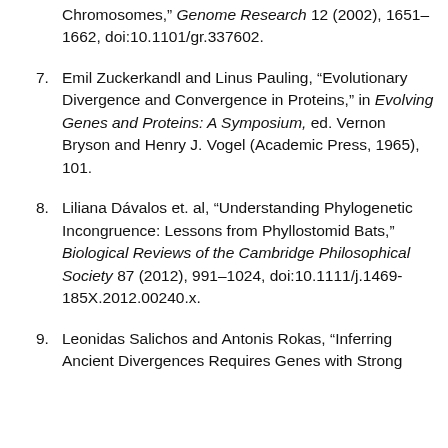Chromosomes,” Genome Research 12 (2002), 1651–1662, doi:10.1101/gr.337602.
7. Emil Zuckerkandl and Linus Pauling, “Evolutionary Divergence and Convergence in Proteins,” in Evolving Genes and Proteins: A Symposium, ed. Vernon Bryson and Henry J. Vogel (Academic Press, 1965), 101.
8. Liliana Dávalos et. al, “Understanding Phylogenetic Incongruence: Lessons from Phyllostomid Bats,” Biological Reviews of the Cambridge Philosophical Society 87 (2012), 991–1024, doi:10.1111/j.1469-185X.2012.00240.x.
9. Leonidas Salichos and Antonis Rokas, “Inferring Ancient Divergences Requires Genes with Strong